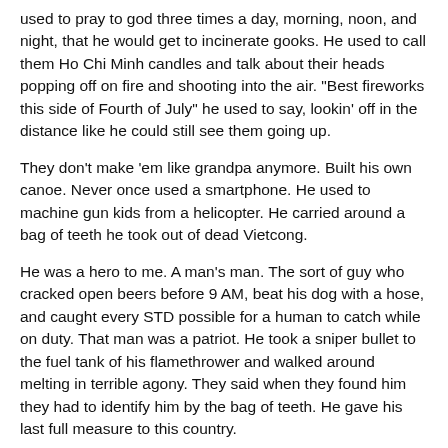used to pray to god three times a day, morning, noon, and night, that he would get to incinerate gooks. He used to call them Ho Chi Minh candles and talk about their heads popping off on fire and shooting into the air. "Best fireworks this side of Fourth of July" he used to say, lookin' off in the distance like he could still see them going up.
They don't make 'em like grandpa anymore. Built his own canoe. Never once used a smartphone. He used to machine gun kids from a helicopter. He carried around a bag of teeth he took out of dead Vietcong.
He was a hero to me. A man's man. The sort of guy who cracked open beers before 9 AM, beat his dog with a hose, and caught every STD possible for a human to catch while on duty. That man was a patriot. He took a sniper bullet to the fuel tank of his flamethrower and walked around melting in terrible agony. They said when they found him they had to identify him by the bag of teeth. He gave his last full measure to this country.
And I don't think, as he was burning up, grandpa was saying to himself, "I sure hope that I die fighting for my country in a French colony in Southeast Asia so a genderbender can shoot the world's greatest terrorist in the face."